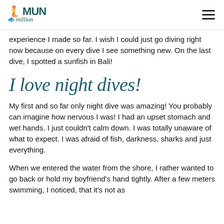MUN [logo with seahorse illustration]
experience I made so far. I wish I could just go diving right now because on every dive I see something new. On the last dive, I spotted a sunfish in Bali!
I love night dives!
My first and so far only night dive was amazing! You probably can imagine how nervous I was! I had an upset stomach and wet hands. I just couldn't calm down. I was totally unaware of what to expect. I was afraid of fish, darkness, sharks and just everything.
When we entered the water from the shore, I rather wanted to go back or hold my boyfriend's hand tightly. After a few meters swimming, I noticed, that it's not as